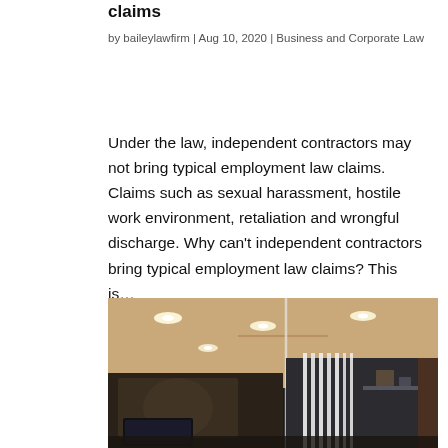claims
by baileylawfirm | Aug 10, 2020 | Business and Corporate Law
Under the law, independent contractors may not bring typical employment law claims. Claims such as sexual harassment, hostile work environment, retaliation and wrongful discharge. Why can't independent contractors bring typical employment law claims? This is…
[Figure (photo): Interior of a law office with recessed ceiling lights, glass partition, dark wood paneling, and a bookshelf with items.]